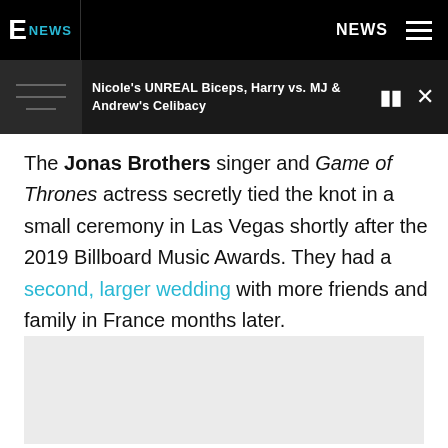E! NEWS | NEWS
Nicole's UNREAL Biceps, Harry vs. MJ & Andrew's Celibacy
The Jonas Brothers singer and Game of Thrones actress secretly tied the knot in a small ceremony in Las Vegas shortly after the 2019 Billboard Music Awards. They had a second, larger wedding with more friends and family in France months later.
[Figure (photo): Image placeholder/advertisement block at the bottom of the article]